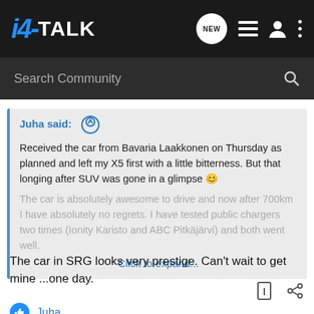i4-TALK
Search Community
Juha said: ↑
Received the car from Bavaria Laakkonen on Thursday as planned and left my X5 first with a little bitterness. But that longing after SUV was gone in a glimpse 😊

The car is absolutely awesome to drive and now after 700km I have absolutely no regrets. I have tested public chargers two times (Ionity Karisto and ABC Pitkäjärvi) and both went well.
Click to expand...
The car in SRG looks very prestige. Can't wait to get mine ...one day.
Juha